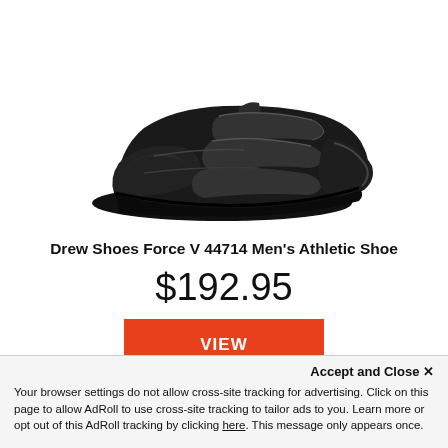[Figure (photo): Black Drew Shoes Force V 44714 Men's Athletic Shoe with velcro straps, photographed from a side angle on white background.]
Drew Shoes Force V 44714 Men's Athletic Shoe
$192.95
VIEW
Accept and Close ×
Your browser settings do not allow cross-site tracking for advertising. Click on this page to allow AdRoll to use cross-site tracking to tailor ads to you. Learn more or opt out of this AdRoll tracking by clicking here. This message only appears once.